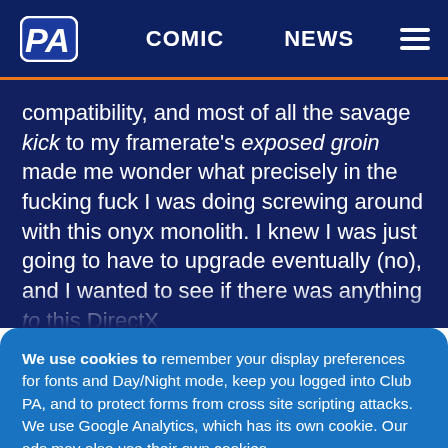PA | COMIC | NEWS
compatibility, and most of all the savage kick to my framerate's exposed groin made me wonder what precisely in the fucking fuck I was doing screwing around with this onyx monolith. I knew I was just going to have to upgrade eventually (no), and I wanted to see if there was anything to this DirectX
We use cookies to remember your display preferences for fonts and Day/Night mode, keep you logged into Club PA, and to protect forms from cross site scripting attacks. We use Google Analytics, which has its own cookie. Our ads may also use their own cookies.
Use Necessary Cookies Only
Allow All Cookies